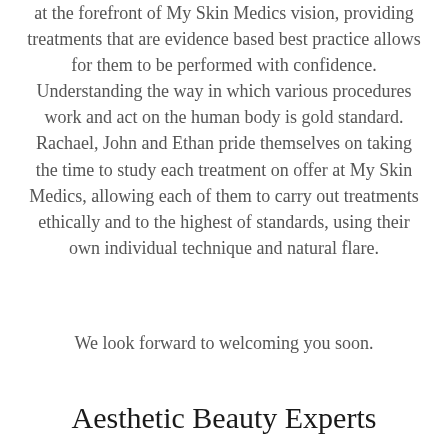at the forefront of My Skin Medics vision, providing treatments that are evidence based best practice allows for them to be performed with confidence. Understanding the way in which various procedures work and act on the human body is gold standard. Rachael, John and Ethan pride themselves on taking the time to study each treatment on offer at My Skin Medics, allowing each of them to carry out treatments ethically and to the highest of standards, using their own individual technique and natural flare.
We look forward to welcoming you soon.
Aesthetic Beauty Experts